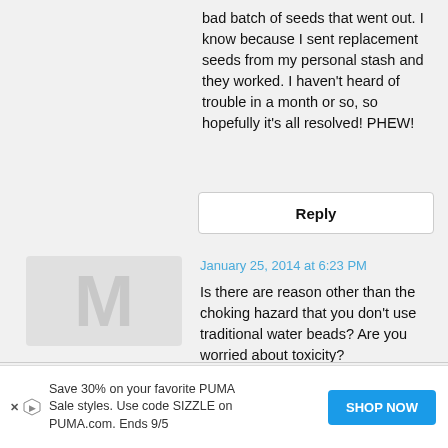bad batch of seeds that went out. I know because I sent replacement seeds from my personal stash and they worked. I haven't heard of trouble in a month or so, so hopefully it's all resolved! PHEW!
Reply
[Figure (illustration): User avatar placeholder showing a large letter silhouette]
January 25, 2014 at 6:23 PM
Is there are reason other than the choking hazard that you don't use traditional water beads? Are you worried about toxicity?
Reply
Save 30% on your favorite PUMA Sale styles. Use code SIZZLE on PUMA.com. Ends 9/5
SHOP NOW